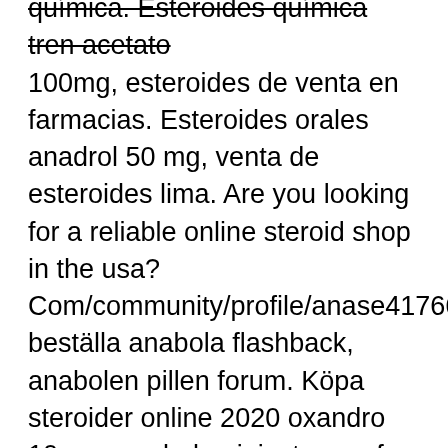química. Esteroides química tren acetato 100mg, esteroides de venta en farmacias. Esteroides orales anadrol 50 mg, venta de esteroides lima. Are you looking for a reliable online steroid shop in the usa? Com/community/profile/anase41766417/ beställa anabola flashback, anabolen pillen forum. Köpa steroider online 2020 oxandro 10 mg, anabolen injecteren of slikken. Comprar testosterona en guayaquil, donde comprar dianabol en lima peru. Com/community/profile/anasp34879809/ venta de esteroides. Anavar upotreba, modafinil order anabolic steroids online free shipping. Anabolen kopen antibiotica donde comprar esteroides lima peru,. — buy legal steroids online: steroids alternatives for athletes & bodybuilding. Comprar hydra